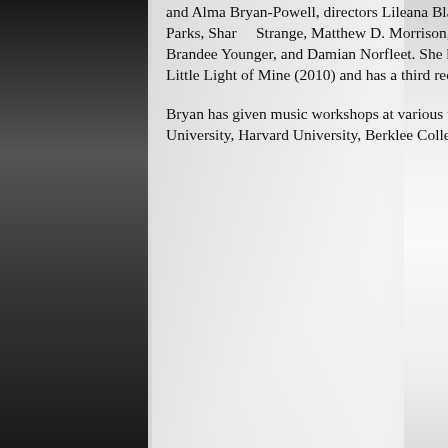[Figure (photo): Black and white background photo of a person at a piano or music setting with sheet music and glasses visible, partially obscured by a semi-transparent white text overlay panel.]
and Alma Bryan-Powell, directors Lileana Blain-Cruz and Patricia McGregor, writers Suzan-Lori Parks, Sharon Strange, Matthew D. Morrison, and Ashon Crawley, and musicians Helga Davis, Brandee Younger, and Damian Norfleet. She has two recordings, Quest for Freedom (2007) and This Little Light of Mine (2010) and has a third recording in progress, Sounds of Freedom.
Bryan has given music workshops at various universities including Princeton University, Columbia University, Harvard University, Berklee College of Music, The California